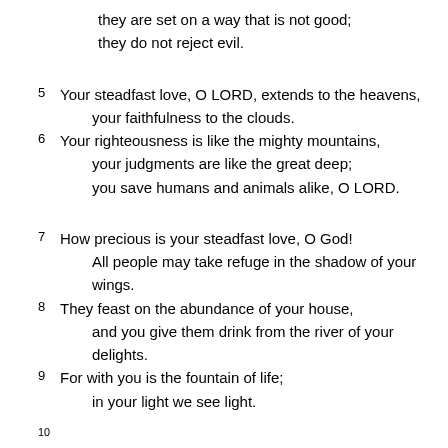they are set on a way that is not good;
    they do not reject evil.
5  Your steadfast love, O LORD, extends to the heavens,
        your faithfulness to the clouds.
6  Your righteousness is like the mighty mountains,
        your judgments are like the great deep;
        you save humans and animals alike, O LORD.
7  How precious is your steadfast love, O God!
        All people may take refuge in the shadow of your wings.
8  They feast on the abundance of your house,
        and you give them drink from the river of your delights.
9  For with you is the fountain of life;
        in your light we see light.